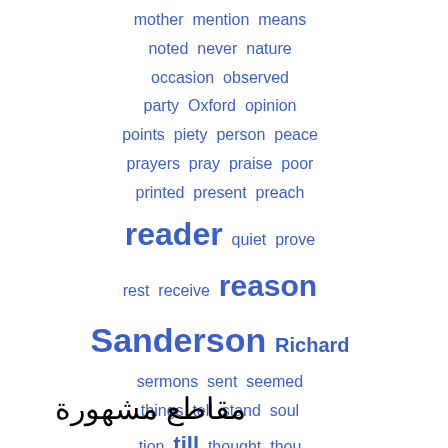[Figure (infographic): Word cloud in blue text showing words: mother, mention, means, noted, never, nature, occasion, observed, party, Oxford, opinion, points, piety, person, peace, prayers, pray, praise, poor, printed, present, preach, reader, quiet, prove, rest, receive, reason, Sanderson, Richard, sermons, sent, seemed, things, tell, stand, soul, tion, till, thought, thou, virtue, truth, true, took, told, write, wife, whole]
مقاطع مشهورة